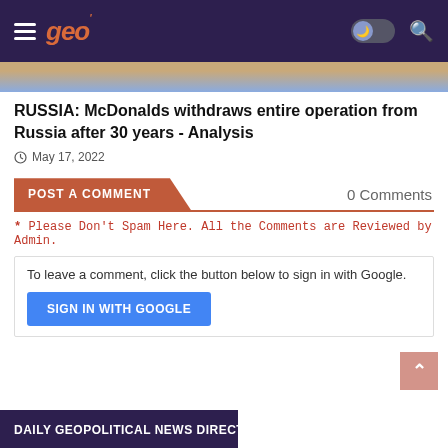geo navigation bar
[Figure (photo): Partial image strip visible at top of content area, showing a face and blue sky background]
RUSSIA: McDonalds withdraws entire operation from Russia after 30 years - Analysis
May 17, 2022
POST A COMMENT
0 Comments
* Please Don't Spam Here. All the Comments are Reviewed by Admin.
To leave a comment, click the button below to sign in with Google.
SIGN IN WITH GOOGLE
DAILY GEOPOLITICAL NEWS DIRECT